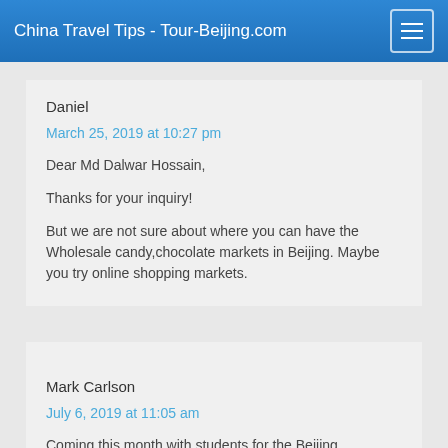China Travel Tips - Tour-Beijing.com
Daniel
March 25, 2019 at 10:27 pm
Dear Md Dalwar Hossain,
Thanks for your inquiry!
But we are not sure about where you can have the Wholesale candy,chocolate markets in Beijing. Maybe you try online shopping markets.
Mark Carlson
July 6, 2019 at 11:05 am
Coming this month with students for the Beijing International Ballet Competition, is there a